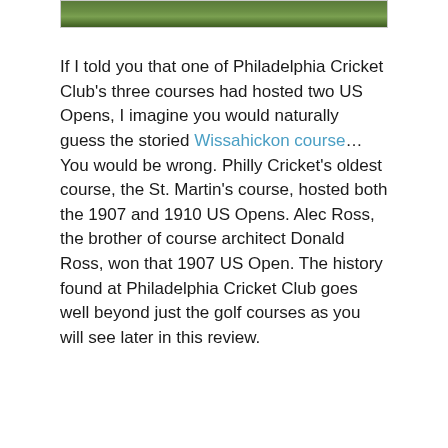[Figure (photo): Partial view of a golf course photo — green grass visible, cropped at top of page with a thin border frame]
If I told you that one of Philadelphia Cricket Club's three courses had hosted two US Opens, I imagine you would naturally guess the storied Wissahickon course… You would be wrong. Philly Cricket's oldest course, the St. Martin's course, hosted both the 1907 and 1910 US Opens. Alec Ross, the brother of course architect Donald Ross, won that 1907 US Open. The history found at Philadelphia Cricket Club goes well beyond just the golf courses as you will see later in this review.